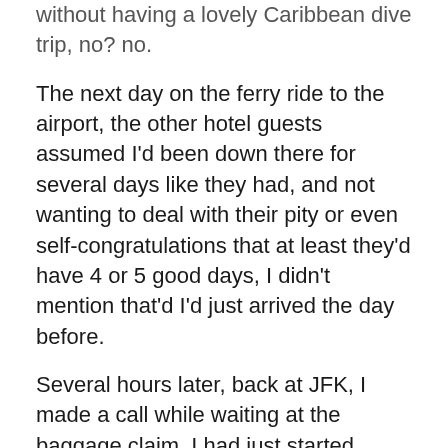without having a lovely Caribbean dive trip, no? no.
The next day on the ferry ride to the airport, the other hotel guests assumed I'd been down there for several days like they had, and not wanting to deal with their pity or even self-congratulations that at least they'd have 4 or 5 good days, I didn't mention that'd I'd just arrived the day before.
Several hours later, back at JFK, I made a call while waiting at the baggage claim. I had just started dating a guy and thought we could go to dinner. I'd met him at work, installing a piece of software on his computer. We'd been flirting for a few weeks, and gone on a first date just a few days earlier. It had ended with a kiss that, well, had a lot of fireworks, so I thought seeing him would be a fun consolation prize. This was pre-cellphone days, so I called Information for his number, and then upon calling him, an answering machine picked up. A young woman cheerfully